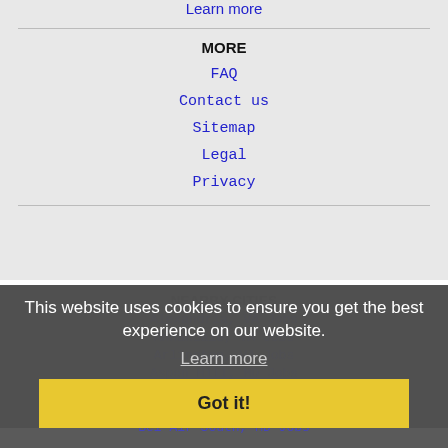Learn more
MORE
FAQ
Contact us
Sitemap
Legal
Privacy
NEARBY CITIES
Alexandria, VA Jobs
Annandale, VA Jobs
Arlington, VA Jobs
Aspen Hill, MD Jobs
Baltimore, MD Jobs
Bel Air North, MD Jobs
Bel Air South, MD Jobs
This website uses cookies to ensure you get the best experience on our website.
Learn more
Got it!